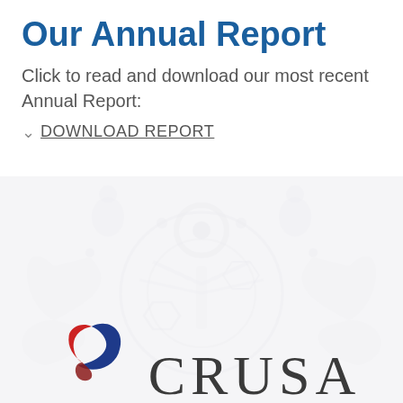Our Annual Report
Click to read and download our most recent Annual Report:
DOWNLOAD REPORT
[Figure (logo): CRUSA organization logo with stylized swoosh icon in blue and red, followed by the text 'CRUSA' in serif font, displayed over a decorative watermark background pattern]